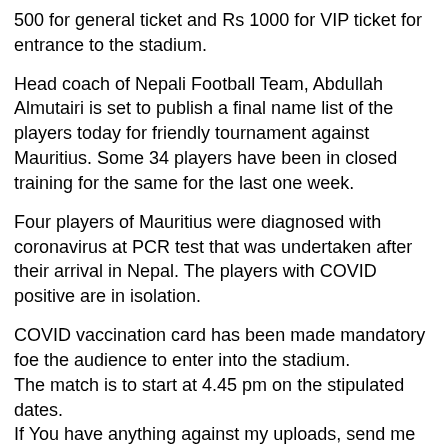500 for general ticket and Rs 1000 for VIP ticket for entrance to the stadium.
Head coach of Nepali Football Team, Abdullah Almutairi is set to publish a final name list of the players today for friendly tournament against Mauritius. Some 34 players have been in closed training for the same for the last one week.
Four players of Mauritius were diagnosed with coronavirus at PCR test that was undertaken after their arrival in Nepal. The players with COVID positive are in isolation.
COVID vaccination card has been made mandatory foe the audience to enter into the stadium.
The match is to start at 4.45 pm on the stipulated dates.
If You have anything against my uploads, send me an e-mail:birajjbhai28@gmail.com and I'll take it down. ▶
This content is both in Transformative and Educational nature. Video is in compliance with Content Quality section of YPP Policies as the editing adds creative value which makes the content unique.
The use of the footage in this video qualifies as fair use